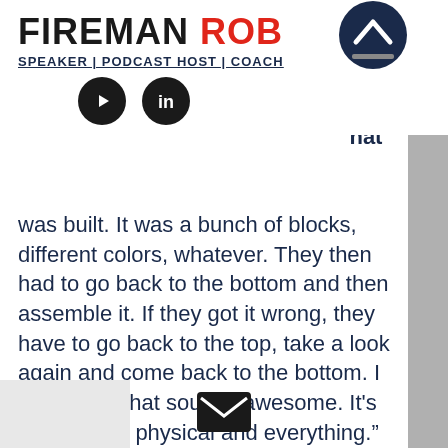FIREMAN ROB
SPEAKER | PODCAST HOST | COACH
[Figure (logo): YouTube and LinkedIn social media icons (black circles)]
[Figure (other): Up arrow chevron navigation button (dark circle with white up arrow)]
uys ntain hat was built. It was a bunch of blocks, different colors, whatever. They then had to go back to the bottom and then assemble it. If they got it wrong, they have to go back to the top, take a look again and come back to the bottom. I was like, “That sounds awesome. It's like mental, physical and everything.”
One of the years, they had to take the bike. They brought their bicycles, but
[Figure (other): Email envelope icon (dark square with white envelope)]